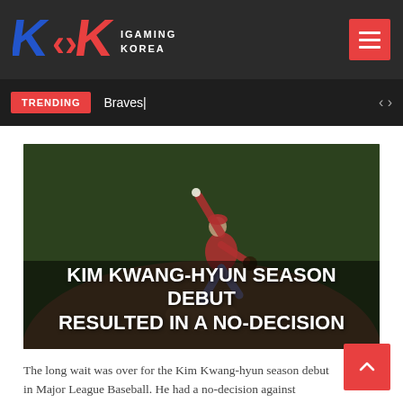iGaming Korea
TRENDING   Braves|
[Figure (photo): Baseball pitcher Kim Kwang-hyun in mid-throw on a baseball field, wearing a red-accented uniform. Text overlay reads: KIM KWANG-HYUN SEASON DEBUT RESULTED IN A NO-DECISION]
KIM KWANG-HYUN SEASON DEBUT RESULTED IN A NO-DECISION
The long wait was over for the Kim Kwang-hyun season debut in Major League Baseball. He had a no-decision against